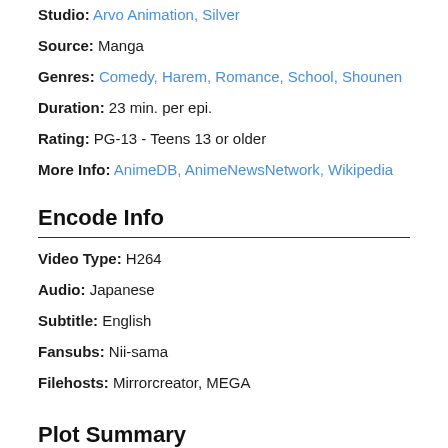Studio: Arvo Animation, Silver
Source: Manga
Genres: Comedy, Harem, Romance, School, Shounen
Duration: 23 min. per epi.
Rating: PG-13 - Teens 13 or older
More Info: AnimeDB, AnimeNewsNetwork, Wikipedia
Encode Info
Video Type: H264
Audio: Japanese
Subtitle: English
Fansubs: Nii-sama
Filehosts: Mirrorcreator, MEGA
Plot Summary